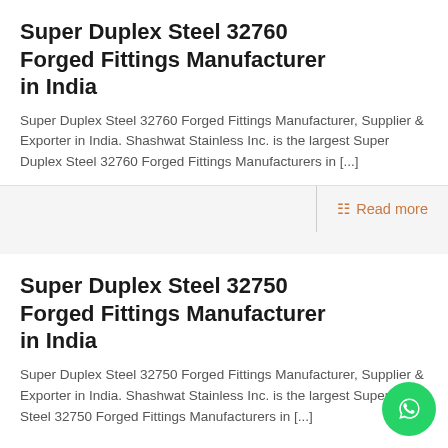Super Duplex Steel 32760 Forged Fittings Manufacturer in India
Super Duplex Steel 32760 Forged Fittings Manufacturer, Supplier & Exporter in India. Shashwat Stainless Inc. is the largest Super Duplex Steel 32760 Forged Fittings Manufacturers in [...]
Read more
Super Duplex Steel 32750 Forged Fittings Manufacturer in India
Super Duplex Steel 32750 Forged Fittings Manufacturer, Supplier & Exporter in India. Shashwat Stainless Inc. is the largest Super Duplex Steel 32750 Forged Fittings Manufacturers in [...]